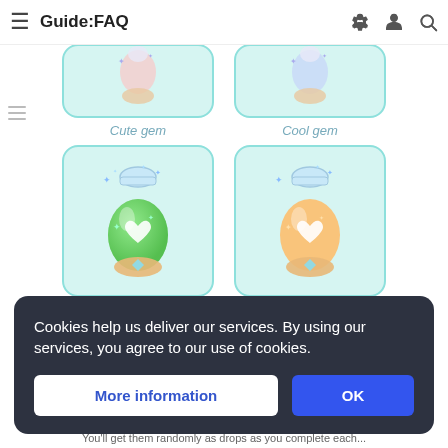Guide:FAQ
[Figure (illustration): Grid of gem potion bottle illustrations: Cute gem (top-left, partially visible), Cool gem (top-right, partially visible), Pure gem (green bottle with heart), Happy gem (orange bottle with heart), two more partially visible at bottom]
Cute gem
Cool gem
Pure gem
Happy gem
Cookies help us deliver our services. By using our services, you agree to our use of cookies.
More information
OK
You'll get them randomly as drops as you complete each...